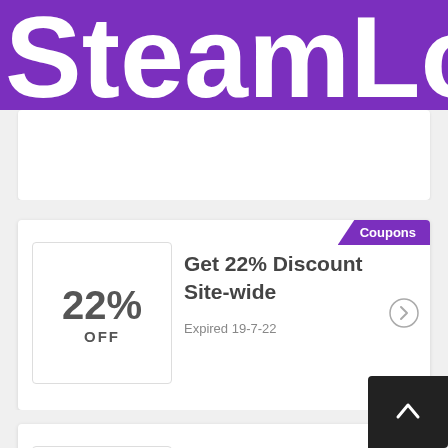SteamLo
Expired 27-7-22
Coupons
22% OFF
Get 22% Discount Site-wide
Expired 19-7-22
Co
25% OFF
Save 25% Off Select Goods
Expired 25-7-22